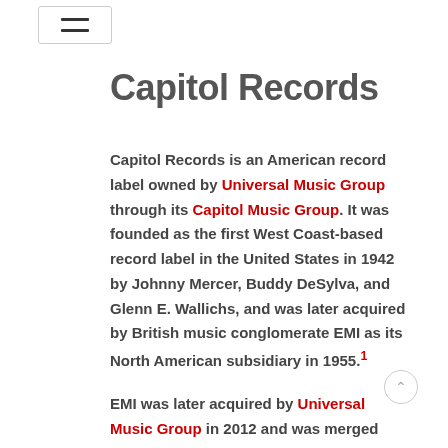≡ (hamburger menu icon)
Capitol Records
Capitol Records is an American record label owned by Universal Music Group through its Capitol Music Group. It was founded as the first West Coast-based record label in the United States in 1942 by Johnny Mercer, Buddy DeSylva, and Glenn E. Wallichs, and was later acquired by British music conglomerate EMI as its North American subsidiary in 1955.¹
EMI was later acquired by Universal Music Group in 2012 and was merged with the